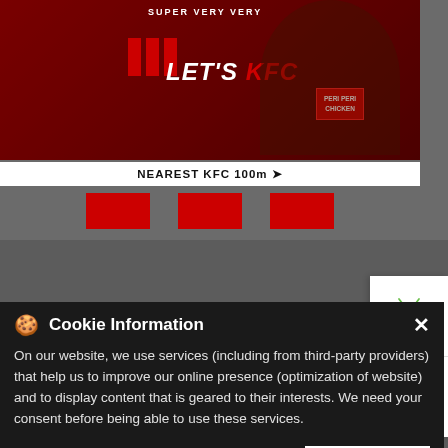[Figure (photo): KFC advertisement banner showing a man eating fried chicken with 'SUPER VERY VERY LET'S KFC' text and PERi PERi CHICKEN bucket on dark red background]
NEAREST KFC 100m →
[Figure (other): Three red square placeholder buttons]
[Figure (other): Side panel with Android and Apple app download icons]
NEARBY LOCALITY
Cookie Information
On our website, we use services (including from third-party providers) that help us to improve our online presence (optimization of website) and to display content that is geared to their interests. We need your consent before being able to use these services.
I ACCEPT